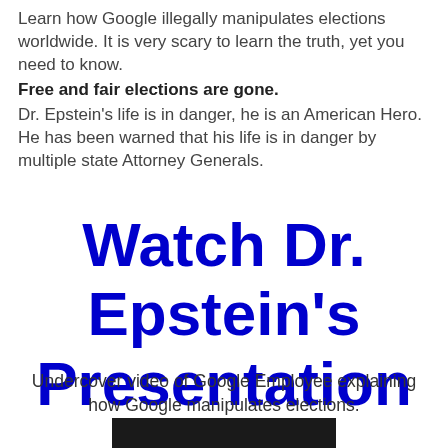Learn how Google illegally manipulates elections worldwide. It is very scary to learn the truth, yet you need to know.
Free and fair elections are gone.
Dr. Epstein's life is in danger, he is an American Hero. He has been warned that his life is in danger by multiple state Attorney Generals.
Watch Dr. Epstein's Presentation
Undercover video of Google Employee explaining how Google manipulates elections.
[Figure (photo): Bottom portion of a video thumbnail showing a person, dark background, partially visible at bottom of page.]